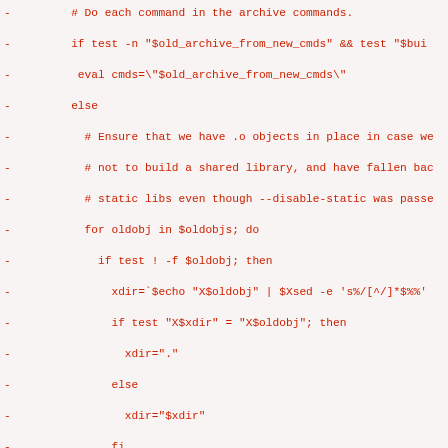- 		# Do each command in the archive commands.
- 		if test -n "$old_archive_from_new_cmds" && test "$bui
- 		 eval cmds=\"$old_archive_from_new_cmds\"
- 		else
- 		 # Ensure that we have .o objects in place in case we
- 		 # not to build a shared library, and have fallen bac
- 		 # static libs even though --disable-static was passe
- 		 for oldobj in $oldobjs; do
- 			 if test ! -f $oldobj; then
- 				 xdir=`$echo "X$oldobj" | $Xsed -e 's%/[^/]*$%%'
- 				 if test "X$xdir" = "X$oldobj"; then
- 					 xdir="."
- 				 else
- 					 xdir="$xdir"
- 				 fi
- 				 baseobj=`$echo "X$oldobj" | $Xsed -e 's%^.*/%%'
- 				 obj=`$echo "X$baseobj" | $Xsed -e "$o2lo"`
- 				 $show "(cd $xdir && ${LN_S} $obj $baseobj)"
- 				 $run eval '(cd $xdir && ${LN_S} $obj $baseobj)'
- 			 fi
- 		 done
-
- 		 eval cmds=\"$old_archive_cmds\"
- 		fi
- 		IFS="${IFS=	}"; save_ifs="$IFS"; IFS='~'
- 		for cmd in $cmds; do
- 		 IFS="$save_ifs"
- 		 $show "$cmd"
- 		 $run eval "$cmd" || exit $?
- 		done
- 		IFS="$save_ifs"
- 	 done